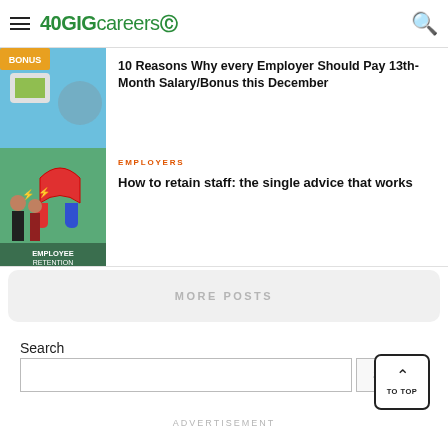40GIGcareers
10 Reasons Why every Employer Should Pay 13th-Month Salary/Bonus this December
EMPLOYERS
How to retain staff: the single advice that works
MORE POSTS
Search
Search
TO TOP
ADVERTISEMENT